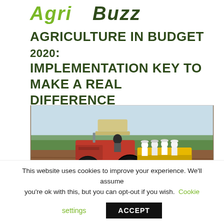AgriBuzz
AGRICULTURE IN BUDGET 2020: IMPLEMENTATION KEY TO MAKE A REAL DIFFERENCE
[Figure (photo): A red tractor with a canopy pulling agricultural equipment across a ploughed brown soil field. Several people in white clothing are seated on the equipment at the rear. Trees are visible in the background under a light sky.]
This website uses cookies to improve your experience. We'll assume you're ok with this, but you can opt-out if you wish. Cookie settings ACCEPT